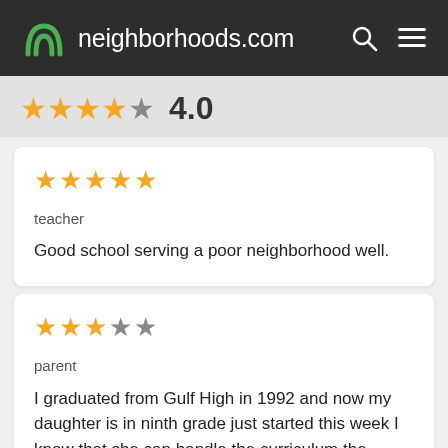neighborhoods.com
4.0
teacher
Good school serving a poor neighborhood well.
parent
I graduated from Gulf High in 1992 and now my daughter is in ninth grade just started this week I know that she can handle the curriculum the classes the